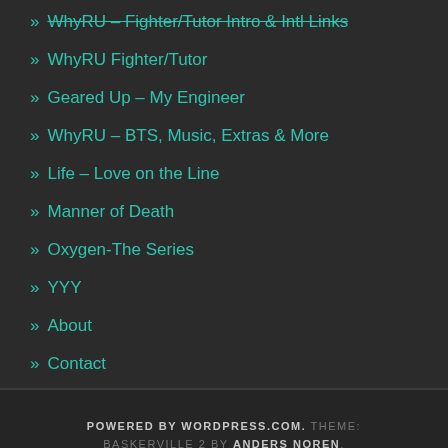» WhyRU – Fighter/Tutor Intro & Intl Links
» WhyRU Fighter/Tutor
» Geared Up – My Engineer
» WhyRU – BTS, Music, Extras & More
» Life – Love on the Line
» Manner of Death
» Oxygen-The Series
» YYY
» About
» Contact
POWERED BY WORDPRESS.COM. THEME: BASKERVILLE 2 BY ANDERS NOREN. UP ↑